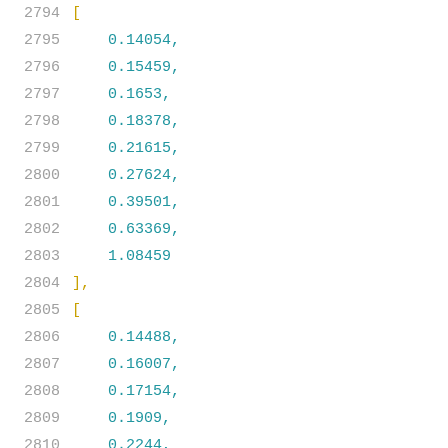2794    [
2795        0.14054,
2796        0.15459,
2797        0.1653,
2798        0.18378,
2799        0.21615,
2800        0.27624,
2801        0.39501,
2802        0.63369,
2803        1.08459
2804    ],
2805    [
2806        0.14488,
2807        0.16007,
2808        0.17154,
2809        0.1909,
2810        0.2244,
2811        0.2851,
2812        0.40407,
2813        0.64222,
2814        1.09282
2815    ]